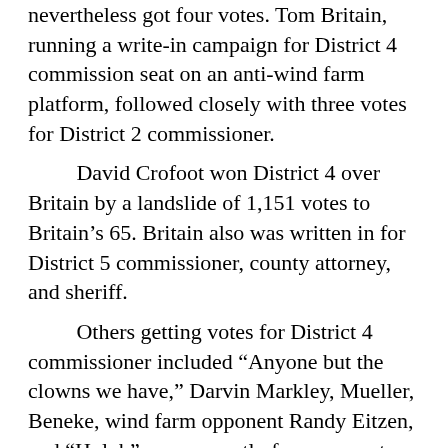nevertheless got four votes. Tom Britain, running a write-in campaign for District 4 commission seat on an anti-wind farm platform, followed closely with three votes for District 2 commissioner.
David Crofoot won District 4 over Britain by a landslide of 1,151 votes to Britain’s 65. Britain also was written in for District 5 commissioner, county attorney, and sheriff.
Others getting votes for District 4 commissioner included “Anyone but the clowns we have,” Darvin Markley, Mueller, Beneke, wind farm opponent Randy Eitzen, and “Holub” — apparently former county commissioner Don Holub.
Jonah Gehring, running unopposed for District 5 commissioner, lost six votes to Britain and one each to Darth Vader, Elsa, Goofy, “NA,” “None above,” and “None of the above.”
County attorney Joel Ensey ran for reelection as a write-in candidate because he did not file for election before the deadline to have his name